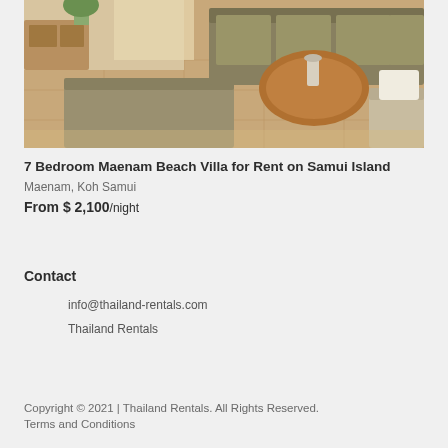[Figure (photo): Interior living room of a luxury villa showing beige/tan furniture including a large ottoman, sofas, a round wooden coffee table, and tiled flooring with warm lighting]
7 Bedroom Maenam Beach Villa for Rent on Samui Island
Maenam, Koh Samui
From $ 2,100/night
Contact
info@thailand-rentals.com
Thailand Rentals
Copyright © 2021 | Thailand Rentals. All Rights Reserved.
Terms and Conditions